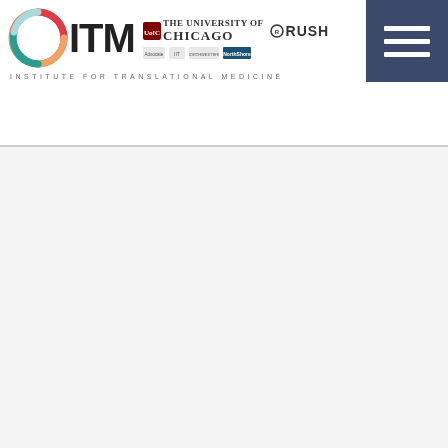[Figure (logo): ITM (Institute for Translational Medicine) header logo with partner institution logos including University of Chicago, RUSH, and others, plus a hamburger menu button in dark blue]